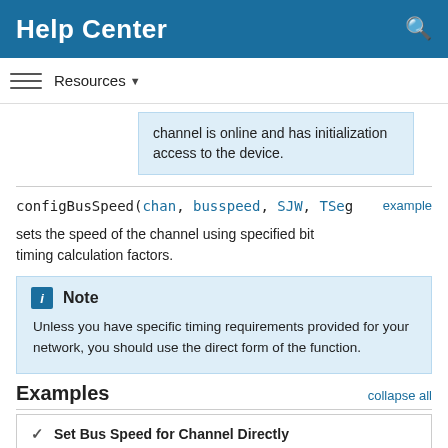Help Center
Resources
channel is online and has initialization access to the device.
configBusSpeed(chan, busspeed, SJW, TSeg
sets the speed of the channel using specified bit timing calculation factors.
Note
Unless you have specific timing requirements provided for your network, you should use the direct form of the function.
Examples
Set Bus Speed for Channel Directly